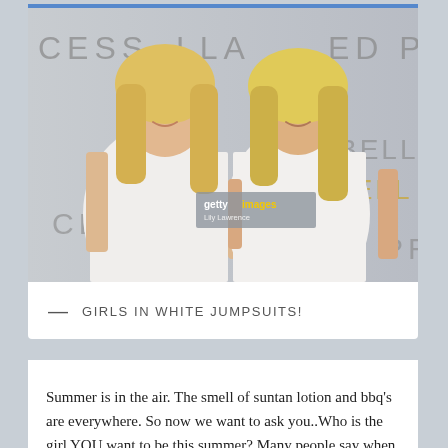[Figure (photo): Two blonde women wearing matching white strapless dresses posing together at what appears to be a Getty Images event with 'BELLA' and 'CESS' signage in the background. Getty Images watermark by Lily Lawrence visible.]
— GIRLS IN WHITE JUMPSUITS!
Summer is in the air. The smell of suntan lotion and bbq's are everywhere. So now we want to ask you..Who is the girl YOU want to be this summer? Many people say when they go away on vacation they feel like they can reinvent